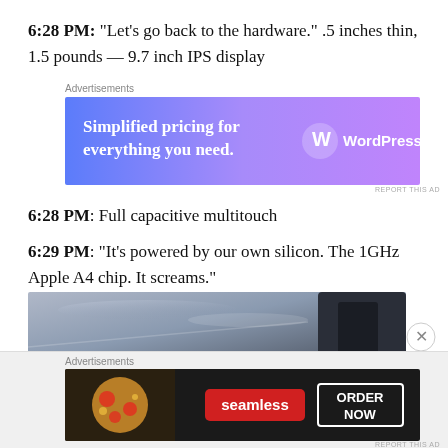6:28 PM: “Let’s go back to the hardware.” .5 inches thin, 1.5 pounds — 9.7 inch IPS display
[Figure (other): WordPress.com advertisement banner: 'Simplified pricing for everything you need.' with gradient blue-purple background and WordPress.com logo]
6:28 PM: Full capacitive multitouch
6:29 PM: “It’s powered by our own silicon. The 1GHz Apple A4 chip. It screams.”
[Figure (photo): Close-up photo of a dark electronic device surface, blurred background]
[Figure (other): Seamless food delivery advertisement banner with pizza image, Seamless logo, and ORDER NOW button on dark background]